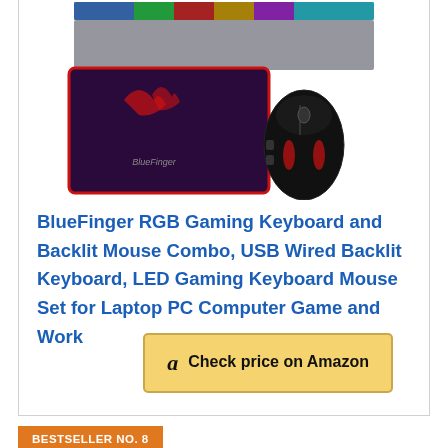[Figure (photo): Product image of BlueFinger RGB gaming keyboard, mouse pad, and gaming mouse combo set]
BlueFinger RGB Gaming Keyboard and Backlit Mouse Combo, USB Wired Backlit Keyboard, LED Gaming Keyboard Mouse Set for Laptop PC Computer Game and Work
[Figure (other): Check price on Amazon button with Amazon logo]
BESTSELLER NO. 8
[Figure (photo): Partial product image at bottom of page — red and black gaming mouse pad]